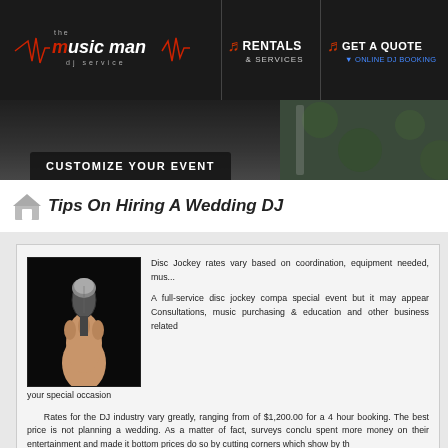[Figure (logo): The Music Man DJ Service logo with red and white text on dark background, with navigation links for Rentals & Services and Get A Quote / Online DJ Booking]
[Figure (screenshot): Dark banner section with 'CUSTOMIZE YOUR EVENT' tab]
Tips On Hiring A Wedding DJ
[Figure (photo): Hand holding a microphone against dark background]
Disc Jockey rates vary based on coordination, equipment needed, mus...
A full-service disc jockey company special event but it may appear Consultations, music purchasing & education and other business related your special occasion
Rates for the DJ industry vary greatly, ranging from of $1,200.00 for a 4 hour booking. The best price is not planning a wedding. As a matter of fact, surveys conclu spent more money on their entertainment and made it bottom prices do so by cutting corners which show by th